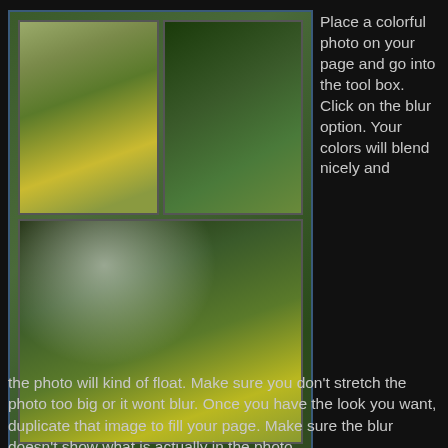[Figure (photo): A collage of three outdoor nature photos showing overgrown fields with yellow wildflowers and green vegetation. Two photos are in the top row and one larger photo is centered in the bottom row, all within a blurred green background frame.]
Place a colorful photo on your page and go into the tool box. Click on the blur option. Your colors will blend nicely and the photo will kind of float. Make sure you don't stretch the photo too big or it wont blur. Once you have the look you want, duplicate that image to fill your page. Make sure the blur doesn't show what is actually in the photo